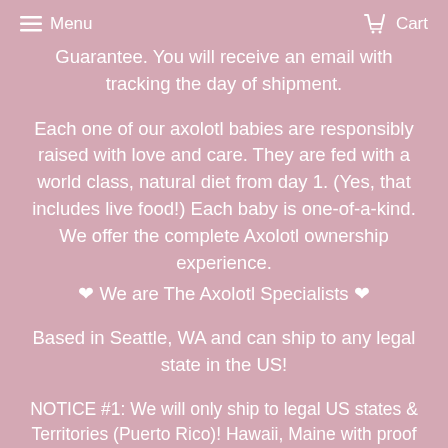Menu  Cart
Guarantee. You will receive an email with tracking the day of shipment.
Each one of our axolotl babies are responsibly raised with love and care. They are fed with a world class, natural diet from day 1. (Yes, that includes live food!) Each baby is one-of-a-kind. We offer the complete Axolotl ownership experience.
❤ We are The Axolotl Specialists ❤
Based in Seattle, WA and can ship to any legal state in the US!
NOTICE #1: We will only ship to legal US states & Territories (Puerto Rico)! Hawaii, Maine with proof of permit. (Reach out to us for permit assistance) (Excludes: New Jersey, California, New Mexico)